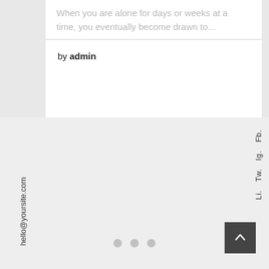When you are alone for days or weeks at a time, you eventually become drawn to...
by admin
hello@yoursite.com
Fb.  Ig.  Tw.  Li.